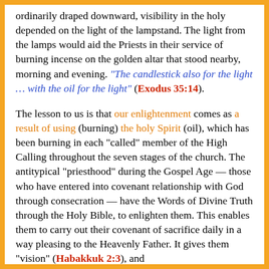ordinarily draped downward, visibility in the holy depended on the light of the lampstand. The light from the lamps would aid the Priests in their service of burning incense on the golden altar that stood nearby, morning and evening. "The candlestick also for the light … with the oil for the light" (Exodus 35:14).
The lesson to us is that our enlightenment comes as a result of using (burning) the holy Spirit (oil), which has been burning in each “called” member of the High Calling throughout the seven stages of the church. The antitypical “priesthood” during the Gospel Age — those who have entered into covenant relationship with God through consecration — have the Words of Divine Truth through the Holy Bible, to enlighten them. This enables them to carry out their covenant of sacrifice daily in a way pleasing to the Heavenly Father. It gives them “vision” (Habakkuk 2:3), and